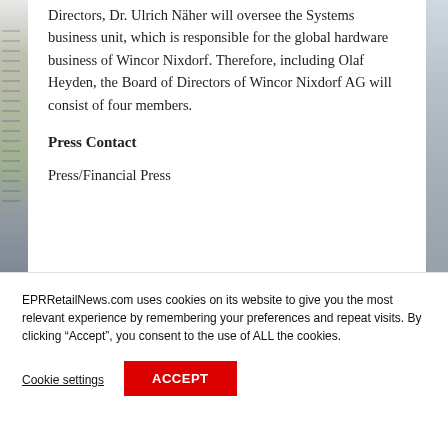Directors, Dr. Ulrich Näher will oversee the Systems business unit, which is responsible for the global hardware business of Wincor Nixdorf. Therefore, including Olaf Heyden, the Board of Directors of Wincor Nixdorf AG will consist of four members.
Press Contact
Press/Financial Press
EPRRetailNews.com uses cookies on its website to give you the most relevant experience by remembering your preferences and repeat visits. By clicking “Accept”, you consent to the use of ALL the cookies.